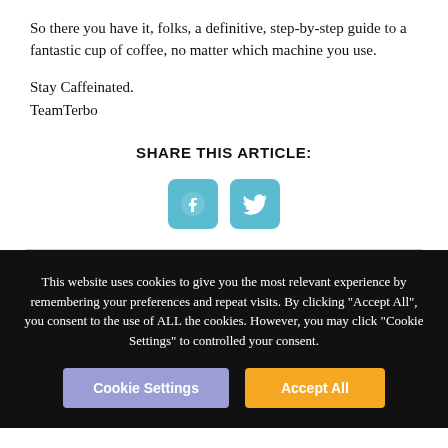So there you have it, folks, a definitive, step-by-step guide to a fantastic cup of coffee, no matter which machine you use.
Stay Caffeinated.
TeamTerbo
SHARE THIS ARTICLE:
[Figure (other): Social share icons: Facebook and Twitter, teal rounded square buttons]
This website uses cookies to give you the most relevant experience by remembering your preferences and repeat visits. By clicking "Accept All", you consent to the use of ALL the cookies. However, you may click "Cookie Settings" to controlled your consent.